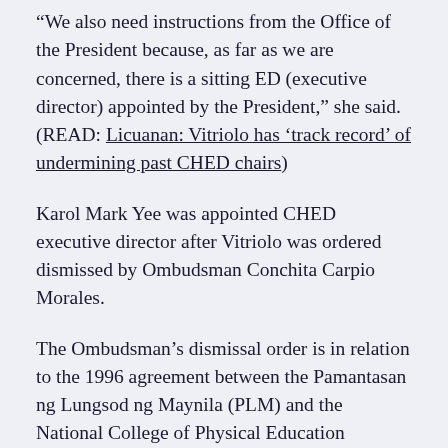“We also need instructions from the Office of the President because, as far as we are concerned, there is a sitting ED (executive director) appointed by the President,” she said. (READ: Licuanan: Vitriolo has ‘track record’ of undermining past CHED chairs)
Karol Mark Yee was appointed CHED executive director after Vitriolo was ordered dismissed by Ombudsman Conchita Carpio Morales.
The Ombudsman’s dismissal order is in relation to the 1996 agreement between the Pamantasan ng Lungsod ng Maynila (PLM) and the National College of Physical Education (NCPE) to operate diploma programs using PLM’s facilities, which was then later found to be irregular.
The Ombudsman said its investigation showed